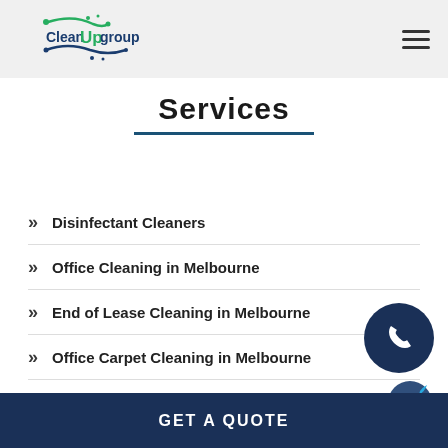Clean Up group
Services
Disinfectant Cleaners
Office Cleaning in Melbourne
End of Lease Cleaning in Melbourne
Office Carpet Cleaning in Melbourne
After Builders Cleaning in Melbourne
GET A QUOTE